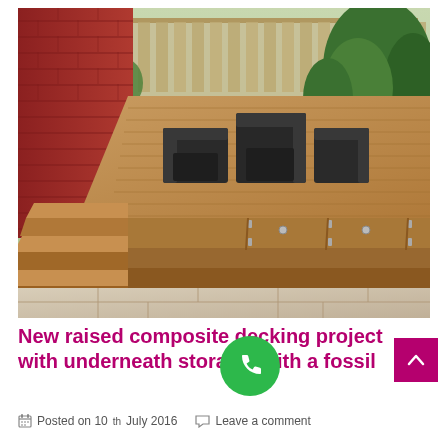[Figure (photo): Photograph of a raised composite decking project in a backyard garden. The deck has warm tan/brown composite boards, built-up steps on the left side, storage compartments with metal hinges along the fascia, and dark grey rattan garden furniture on top. The surrounding area has brick walls on the left, stone paving below, and green garden/trees in the background.]
New raised composite decking project with underneath storage, with a fossil
Posted on 10th July 2016   Leave a comment